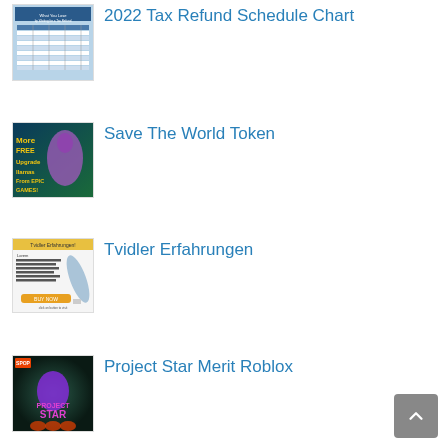[Figure (screenshot): Thumbnail image of 2022 Tax Refund Schedule Chart showing a table with tax data]
2022 Tax Refund Schedule Chart
[Figure (screenshot): Thumbnail image showing Fortnite llama with text 'More FREE Upgrade llamas From EPIC GAMES!']
Save The World Token
[Figure (screenshot): Thumbnail image of Tvidler Erfahrungen product advertisement]
Tvidler Erfahrungen
[Figure (screenshot): Thumbnail image of Project Star Roblox game logo]
Project Star Merit Roblox